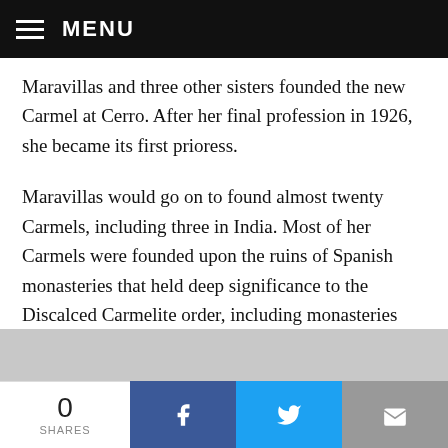MENU
Maravillas and three other sisters founded the new Carmel at Cerro. After her final profession in 1926, she became its first prioress.
Maravillas would go on to found almost twenty Carmels, including three in India. Most of her Carmels were founded upon the ruins of Spanish monasteries that held deep significance to the Discalced Carmelite order, including monasteries that had once housed Teresa of Avila or St. John of the Cross themselves. All of these foundations were spurred by a veritable flood of vocations